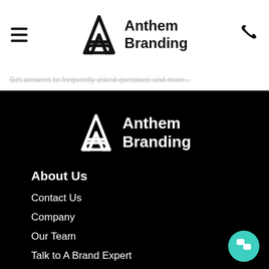Anthem Branding [logo, hamburger menu, phone icon]
Get answers to frequently asked questions and more...
[Figure (logo): Anthem Branding logo: white stylized A lettermark with company name 'Anthem Branding' in bold white text on black background]
About Us
Contact Us
Company
Our Team
Talk to A Brand Expert